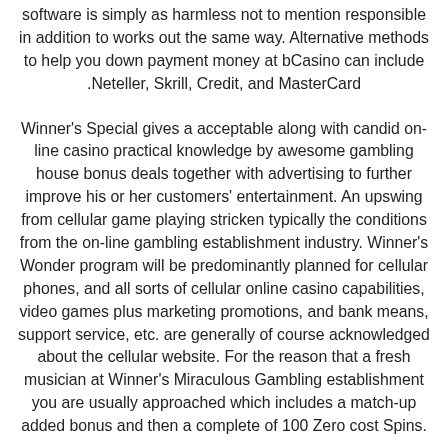software is simply as harmless not to mention responsible in addition to works out the same way. Alternative methods to help you down payment money at bCasino can include .Neteller, Skrill, Credit, and MasterCard
Winner's Special gives a acceptable along with candid on-line casino practical knowledge by awesome gambling house bonus deals together with advertising to further improve his or her customers' entertainment. An upswing from cellular game playing stricken typically the conditions from the on-line gambling establishment industry. Winner's Wonder program will be predominantly planned for cellular phones, and all sorts of cellular online casino capabilities, video games plus marketing promotions, and bank means, support service, etc. are generally of course acknowledged about the cellular website. For the reason that a fresh musician at Winner's Miraculous Gambling establishment you are usually approached which includes a match-up added bonus and then a complete of 100 Zero cost Spins.